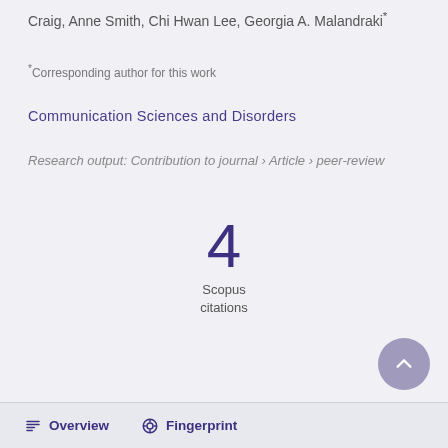Craig, Anne Smith, Chi Hwan Lee, Georgia A. Malandraki*
*Corresponding author for this work
Communication Sciences and Disorders
Research output: Contribution to journal › Article › peer-review
4
Scopus
citations
Overview   Fingerprint